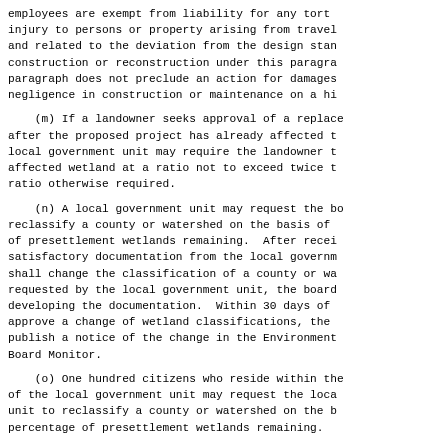employees are exempt from liability for any tort injury to persons or property arising from travel and related to the deviation from the design stan construction or reconstruction under this paragra paragraph does not preclude an action for damages negligence in construction or maintenance on a hi
(m) If a landowner seeks approval of a replace after the proposed project has already affected t local government unit may require the landowner t affected wetland at a ratio not to exceed twice t ratio otherwise required.
(n) A local government unit may request the bo reclassify a county or watershed on the basis of of presettlement wetlands remaining.  After recei satisfactory documentation from the local governm shall change the classification of a county or wa requested by the local government unit, the board developing the documentation.  Within 30 days of approve a change of wetland classifications, the publish a notice of the change in the Environment Board Monitor.
(o) One hundred citizens who reside within the of the local government unit may request the loca unit to reclassify a county or watershed on the b percentage of presettlement wetlands remaining.